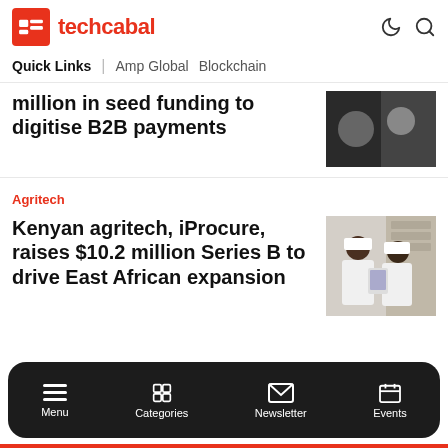techcabal
Quick Links | Amp Global  Blockchain
million in seed funding to digitise B2B payments
Agritech
Kenyan agritech, iProcure, raises $10.2 million Series B to drive East African expansion
Menu  Categories  Newsletter  Events